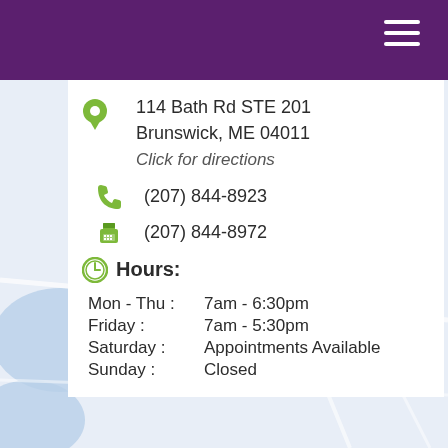[Figure (map): Google Maps background showing Brunswick, ME area with roads and water bodies in light blue]
114 Bath Rd STE 201
Brunswick, ME 04011
Click for directions
(207) 844-8923
(207) 844-8972
Hours:
| Day | Hours |
| --- | --- |
| Mon - Thu : | 7am - 6:30pm |
| Friday : | 7am - 5:30pm |
| Saturday : | Appointments Available |
| Sunday : | Closed |